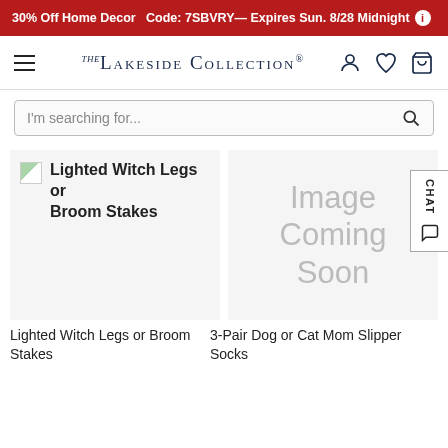30% Off Home Decor  Code: 7SBVRY— Expires Sun. 8/28 Midnight
[Figure (logo): The Lakeside Collection logo with hamburger menu, account, wishlist, and cart icons]
[Figure (screenshot): Search bar with placeholder text 'I'm searching for...' and search icon]
[Figure (photo): Broken image placeholder for Lighted Witch Legs or Broom Stakes product]
Lighted Witch Legs or Broom Stakes
[Figure (photo): Image Coming Soon placeholder for 3-Pair Dog or Cat Mom Slipper Socks product]
3-Pair Dog or Cat Mom Slipper Socks